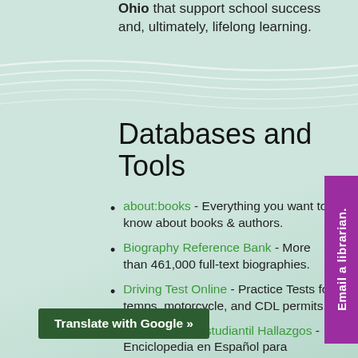Ohio that support school success and, ultimately, lifelong learning.
Databases and Tools
about:books - Everything you want to know about books & authors.
Biography Reference Bank - More than 461,000 full-text biographies.
Driving Test Online - Practice Tests for temps, motorcycle, and CDL permits.
Enciclopedia Estudiantil Hallazgos - Enciclopedia en Español para hispanohablantes y estudiantes de lengua española. Spanish-language ... anish speakers and ... arners.
Translate with Google »